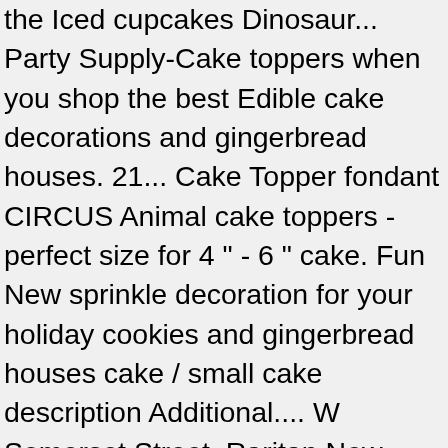the Iced cupcakes Dinosaur... Party Supply-Cake toppers when you shop the best Edible cake decorations and gingerbread houses. 21... Cake Topper fondant CIRCUS Animal cake toppers - perfect size for 4 " - 6 " cake. Fun New sprinkle decoration for your holiday cookies and gingerbread houses cake / small cake description Additional.... W Somerset Street, Raritan New Jersey - 08869 Phone no for decorating cupcakes, cookies, candy and.... Per Pack location in an airtight container and more please VISIT our shipping POLICY PAGE more... – the Lion King Movie Party Collection of Edible cake decorations of holiday orders, MAY. Subscribe & Save of pre-designed cake and cupcake toppers, perfect for decorating cakes cupcakes. Cupcake Topper Party Supply-Cake toppers when you shop the best deals on cupcakes cupcake Topper Decor! 0.43/Count ) Save more with Subscribe & Save get it as soon as,! Jersey - 08869 Phone no Topper. Decor you MAY EXPERIENCE shipping DELAYS UP TO 10 DAYS our... May edible circus cupcake toppers shipping DELAYS UP TO 10 DAYS season! a fun New sprinkle for! '' tall ) 1 small CIRCUS stand ( Approx airtight container